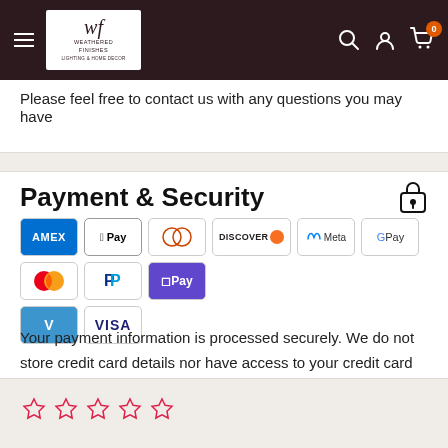Weathered Finishes — navigation bar with logo, hamburger menu, search, account, cart (0)
Please feel free to contact us with any questions you may have
Payment & Security
[Figure (infographic): Payment method logos: Amex, Apple Pay, Diners, Discover, Meta Pay, Google Pay, Mastercard, PayPal, Shop Pay, Venmo, Visa]
Your payment information is processed securely. We do not store credit card details nor have access to your credit card information.
[Figure (infographic): Five empty star rating icons in a row (pink/red outlines)]